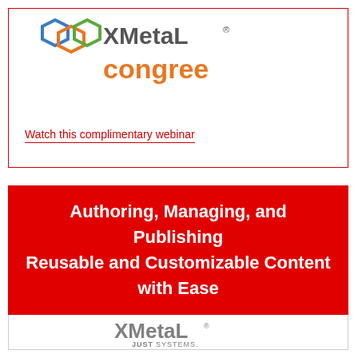[Figure (logo): XMetal congree logo with hexagonal icons in blue, orange, and green above the text 'congree' in orange]
Watch this complimentary webinar
Authoring, Managing, and Publishing Reusable and Customizable Content with Ease
[Figure (logo): XMetal by JustSystems logo in gray]